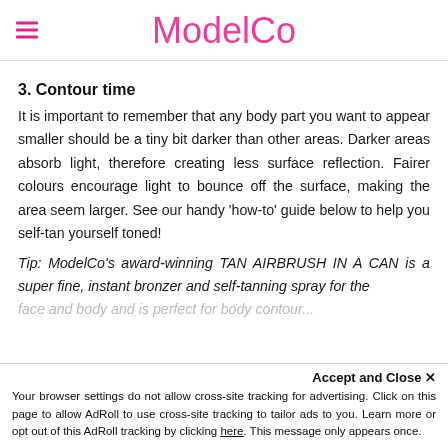ModelCo
3. Contour time
It is important to remember that any body part you want to appear smaller should be a tiny bit darker than other areas. Darker areas absorb light, therefore creating less surface reflection. Fairer colours encourage light to bounce off the surface, making the area seem larger. See our handy 'how-to' guide below to help you self-tan yourself toned!
Tip: ModelCo's award-winning TAN AIRBRUSH IN A CAN is a super fine, instant bronzer and self-tanning spray for the face and body and is perfect for body contouring. For of
Accept and Close ×
Your browser settings do not allow cross-site tracking for advertising. Click on this page to allow AdRoll to use cross-site tracking to tailor ads to you. Learn more or opt out of this AdRoll tracking by clicking here. This message only appears once.